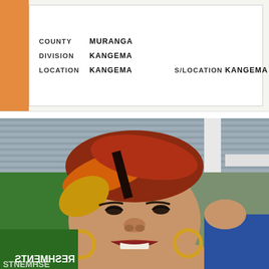[Figure (photo): Partial view of a Kenyan ID card showing COUNTY: MURANGA, DIVISION: KANGEMA, LOCATION: KANGEMA, S/LOCATION: KANGEMA. A hand holds the card and an orange thumb area is visible on the left side.]
[Figure (photo): Close-up selfie photo of a woman with reddish-brown highlighted short hair, gold hoop earrings, smiling. Background shows a corrugated metal roof and a partially visible reversed sign reading REFRESHMENTS. A person in a blue jacket is partially visible on the right.]